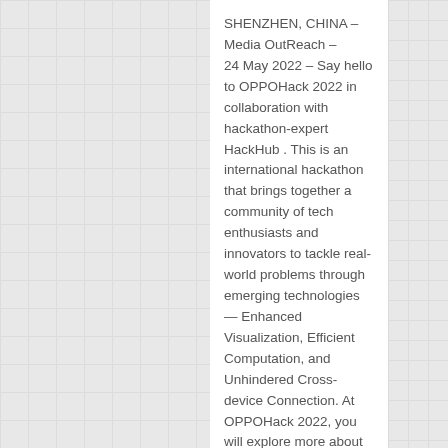SHENZHEN, CHINA – Media OutReach – 24 May 2022 – Say hello to OPPOHack 2022 in collaboration with hackathon-expert HackHub . This is an international hackathon that brings together a community of tech enthusiasts and innovators to tackle real-world problems through emerging technologies — Enhanced Visualization, Efficient Computation, and Unhindered Cross-device Connection. At OPPOHack 2022, you will explore more about the latest information on ColorOS.
OPPOHack 2022 — Intelligence Linking the World With OPPO's vision to build a world that emphasizes user-centric ubiquitous service experience, OPPOHack aims to create seamless interconnection between people and technology. Participants coming from